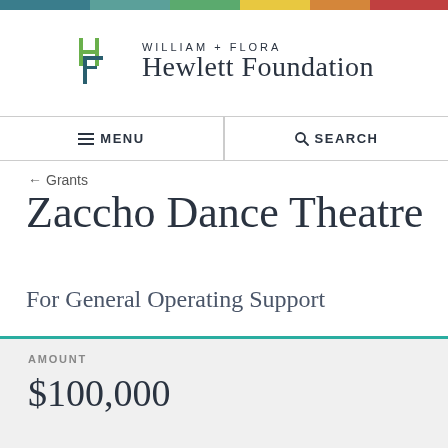William + Flora Hewlett Foundation
MENU   SEARCH
← Grants
Zaccho Dance Theatre
For General Operating Support
AMOUNT
$100,000